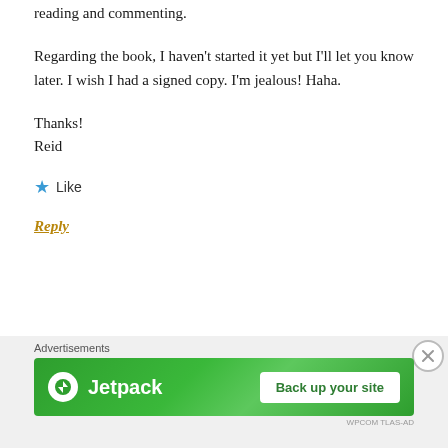reading and commenting.
Regarding the book, I haven't started it yet but I'll let you know later. I wish I had a signed copy. I'm jealous! Haha.
Thanks!
Reid
★ Like
Reply
Advertisements
[Figure (screenshot): Jetpack advertisement banner with green background showing Jetpack logo and 'Back up your site' button]